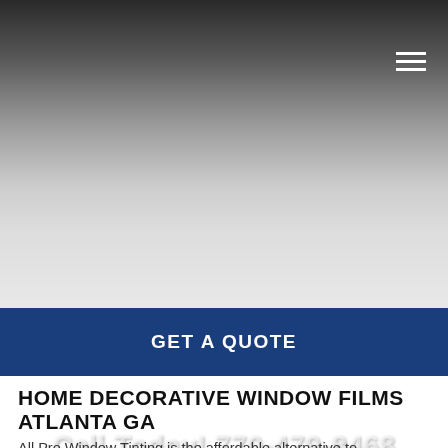[Figure (screenshot): Hero header section with dark-to-light gradient background and hamburger menu icon in top right]
Call Today! 770-479-8468
GET A QUOTE
HOME DECORATIVE WINDOW FILMS ATLANTA GA
All Pro Window Tinting is the affordable alternative to